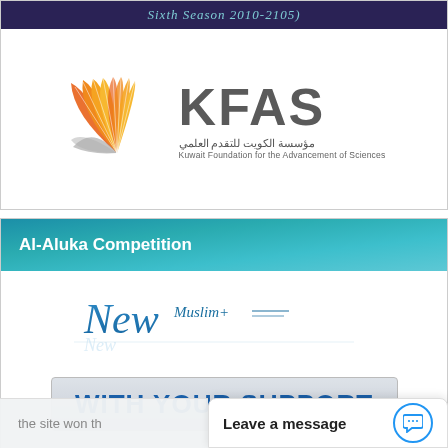[Figure (logo): Dark banner with partial text 'Sixth Season 2010-2105)' in teal italic letters on dark navy background]
[Figure (logo): KFAS (Kuwait Foundation for the Advancement of Sciences) logo with orange fan/wing graphic and Arabic and English text below]
Al-Aluka Competition
[Figure (logo): New Muslim website logo with stylized cursive 'New' and 'Muslim+' text in blue]
[Figure (other): Box with text 'WITH YOUR SUPPORT' in bold dark blue on grey gradient background]
the site won th
Leave a message